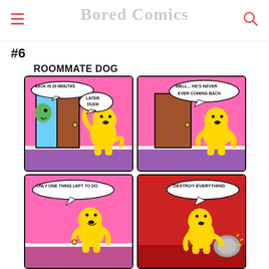Bored Comics
#6
ROOMMATE DOG
[Figure (illustration): Four-panel webcomic called 'Roommate Dog'. Panel 1 (top-left): Pink background, a yellow cartoon dog waves goodbye at a brown door, a green character peeks around the door saying 'BACK IN 20 MINUTES', dog says 'LATER DUDE'. Panel 2 (top-right): Pink background, the yellow dog stands alone by the closed door with a speech bubble 'WELL... HE'S NEVER EVER COMING BACK'. Panel 3 (bottom-left): Pink background, yellow dog looking sly with speech bubble 'ONLY ONE THING LEFT TO DO'. Panel 4 (bottom-right): Red background, yellow dog holding something metallic with speech bubble 'DESTROY EVERYTHING'.]